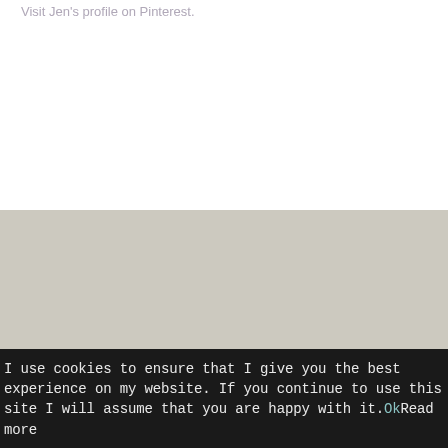Visit Jen's profile on Pinterest.
© Jen Maddocks 2008-2018
[Figure (other): Four pink circular social media icon buttons: Google+, Pinterest, Twitter, Facebook]
HOME
ABOUT
GALLERIES
BLOG
CONTACT
I use cookies to ensure that I give you the best experience on my website. If you continue to use this site I will assume that you are happy with it. Ok Read more